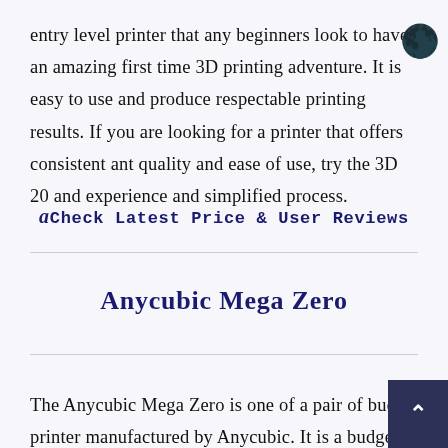entry level printer that any beginners look to have an amazing first time 3D printing adventure. It is easy to use and produce respectable printing results. If you are looking for a printer that offers consistent ant quality and ease of use, try the 3D 20 and experience and simplified process.
a Check Latest Price & User Reviews
Anycubic Mega Zero
The Anycubic Mega Zero is one of a pair of budg printer manufactured by Anycubic. It is a budge